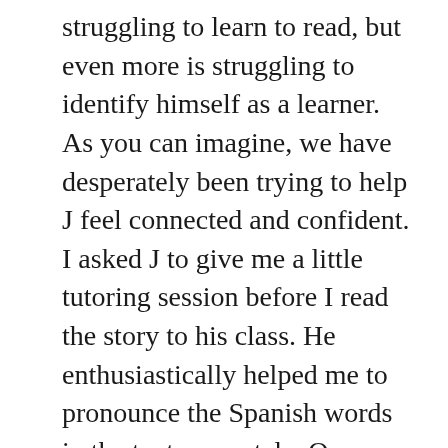struggling to learn to read, but even more is struggling to identify himself as a learner. As you can imagine, we have desperately been trying to help J feel connected and confident. I asked J to give me a little tutoring session before I read the story to his class. He enthusiastically helped me to pronounce the Spanish words in the text accurately. Or, as accurately as I could manage.